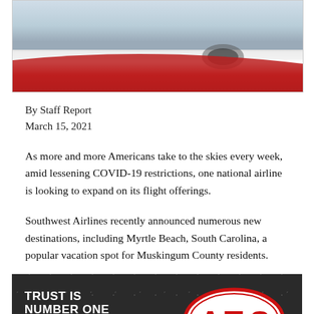[Figure (photo): Partial view of a red and white aircraft (Southwest Airlines plane) against a sky background, cropped at top]
By Staff Report
March 15, 2021
As more and more Americans take to the skies every week, amid lessening COVID-19 restrictions, one national airline is looking to expand on its flight offerings.
Southwest Airlines recently announced numerous new destinations, including Myrtle Beach, South Carolina, a popular vacation spot for Muskingum County residents.
[Figure (photo): Advertisement banner with dark background showing 'TRUST IS NUMBER ONE HIRING NOW!' text on left and ATS logo (red letters A, T, S in an oval) on right, with faint American flag stars pattern]